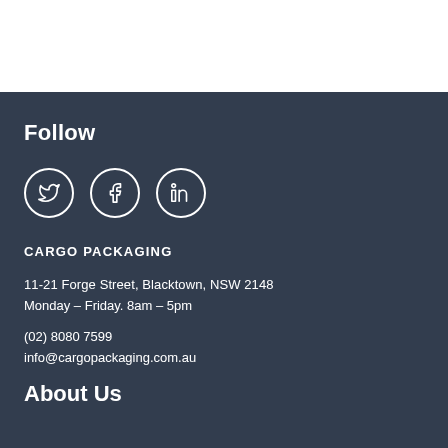Follow
[Figure (other): Three social media icons in circles: Twitter (bird), Facebook (f), LinkedIn (in)]
CARGO PACKAGING
11-21 Forge Street, Blacktown, NSW 2148
Monday – Friday. 8am – 5pm
(02) 8080 7599
info@cargopackaging.com.au
About Us